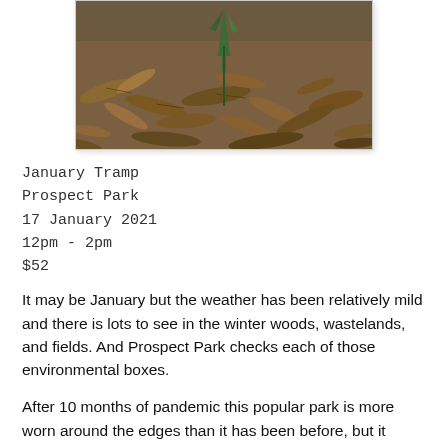[Figure (photo): Photograph of winter ground cover showing dry brown leaves and a small green plant shoot emerging from the leaf litter, taken at Prospect Park.]
January Tramp
Prospect Park
17 January 2021
12pm - 2pm
$52
It may be January but the weather has been relatively mild and there is lots to see in the winter woods, wastelands, and fields. And Prospect Park checks each of those environmental boxes.
After 10 months of pandemic this popular park is more worn around the edges than it has been before, but it offers what is always has: a chance to see, recognize, and learn about the many edible plants and mushrooms that surround us in the Northeast, from indigenous shrubs to invasive weeds to ornamental trees planted for beauty... but that also hold